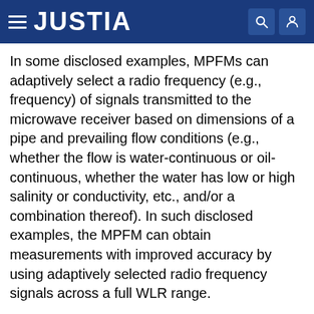JUSTIA
In some disclosed examples, MPFMs can adaptively select a radio frequency (e.g., frequency) of signals transmitted to the microwave receiver based on dimensions of a pipe and prevailing flow conditions (e.g., whether the flow is water-continuous or oil-continuous, whether the water has low or high salinity or conductivity, etc., and/or a combination thereof). In such disclosed examples, the MPFM can obtain measurements with improved accuracy by using adaptively selected radio frequency signals across a full WLR range.
In examples disclosed herein, the MPFM can execute and/or otherwise implement one or more physics models to determine one or more parameter values associated with the fluid. For example, the one or more physics models can simulate the one or more